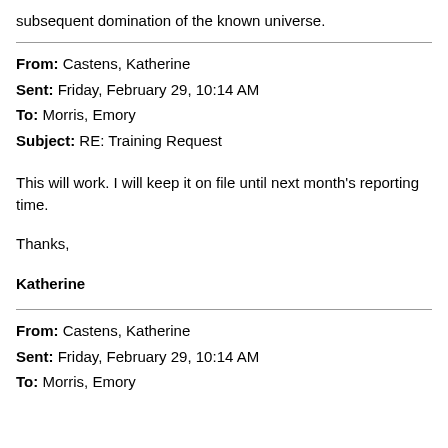subsequent domination of the known universe.
From: Castens, Katherine
Sent: Friday, February 29, 10:14 AM
To: Morris, Emory
Subject: RE: Training Request
This will work.  I will keep it on file until next month's reporting time.
Thanks,
Katherine
From: Castens, Katherine
Sent: Friday, February 29, 10:14 AM
To: Morris, Emory